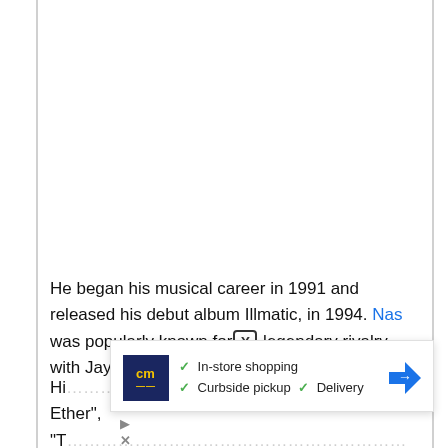He began his musical career in 1991 and released his debut album Illmatic, in 1994. Nas was popularly known for [X] legendary rivalry with Jay Z that was the talk of th
[Figure (screenshot): Ad popup overlay showing a store listing with a dark blue 'cm' logo, checkmarks for 'In-store shopping', 'Curbside pickup', 'Delivery', and a blue navigation arrow icon.]
Hi ... Ether", "T ... ust ot